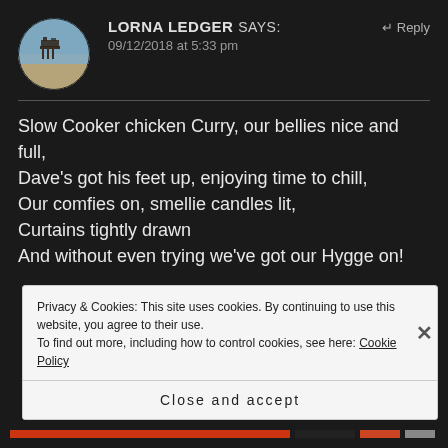[Figure (photo): Circular avatar photo showing a pier/jetty over a beach with sea and sky, dark tones]
LORNA LEDGER says:  ↵ Reply
09/12/2018 at 5:33 pm
Slow Cooker chicken Curry, our bellies nice and full,
Dave's got his feet up, enjoying time to chill,
Our comfies on, smellie candles lit,
Curtains tightly drawn
And without even trying we've got our Hygge on!
Privacy & Cookies: This site uses cookies. By continuing to use this website, you agree to their use.
To find out more, including how to control cookies, see here: Cookie Policy
Close and accept